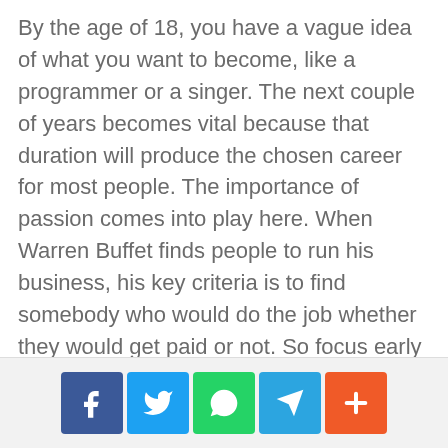By the age of 18, you have a vague idea of what you want to become, like a programmer or a singer. The next couple of years becomes vital because that duration will produce the chosen career for most people. The importance of passion comes into play here. When Warren Buffet finds people to run his business, his key criteria is to find somebody who would do the job whether they would get paid or not. So focus early and relax later.
[Figure (other): Social sharing buttons: Facebook, Twitter, WhatsApp, Telegram, and a More (+) button]